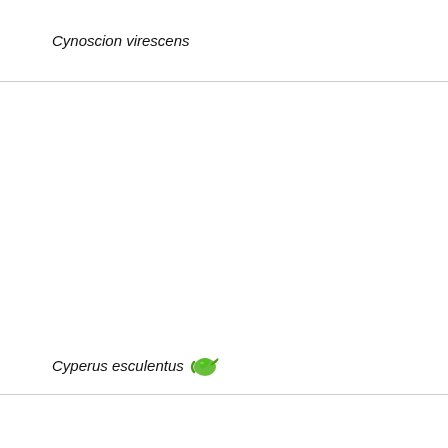| Species | Use |
| --- | --- |
| Cynoscion virescens | seafood |
| Cyperus esculentus [icon] | plants(tubers,Nibble, cooked vegetable, flour, coffee drink.) |
| Cyprinus carpio [icon][L] | seafood |